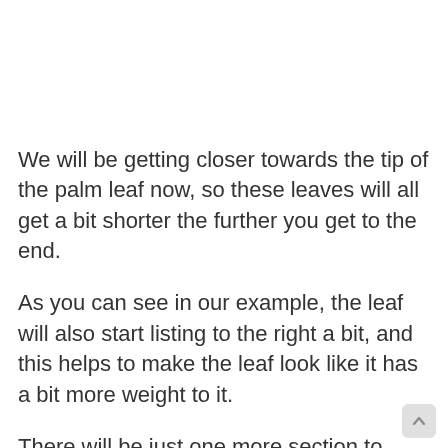We will be getting closer towards the tip of the palm leaf now, so these leaves will all get a bit shorter the further you get to the end.
As you can see in our example, the leaf will also start listing to the right a bit, and this helps to make the leaf look like it has a bit more weight to it.
There will be just one more section to draw in the next step, and we will also add any final details or extra touches in that step!